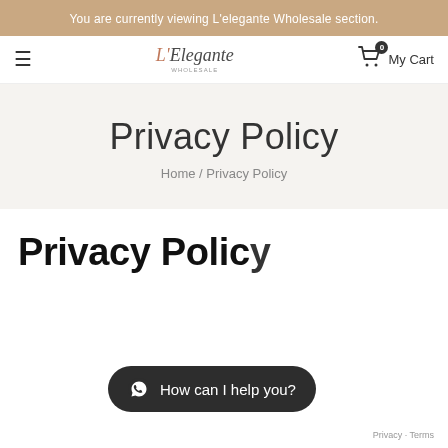You are currently viewing L'elegante Wholesale section.
[Figure (logo): L'Elegante Wholesale logo with hamburger menu and cart icon]
Privacy Policy
Home / Privacy Policy
Privacy Policy
[Figure (screenshot): WhatsApp chat button: How can I help you?]
Privacy - Terms